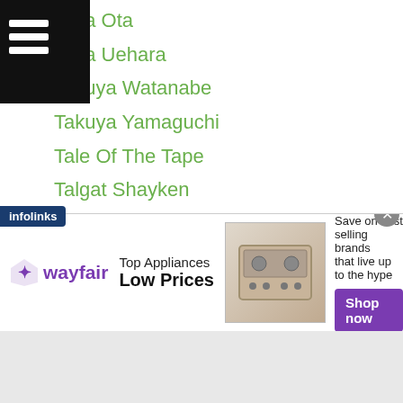Navigation menu header bar
kuya Ota
kuya Uehara
Takuya Watanabe
Takuya Yamaguchi
Tale Of The Tape
Talgat Shayken
Tamao Ozawa
Tamas Kovacs
Tanawat Nakoon
Tanes Ongjunta
Tantelecom
Tatsumasa Abe
Tatsuo Kawaura
Tatsuro Nakashima
Tatsuya Fukuhara
a Ikemizu
[Figure (screenshot): Wayfair advertisement banner: Top Appliances Low Prices with appliance image and Shop now button. Infolinks label visible. Close button (x) in top-right corner.]